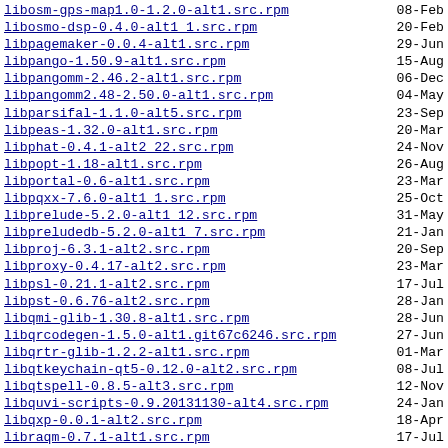libosm-gps-map1.0-1.2.0-alt1.src.rpm   08-Feb
libosmo-dsp-0.4.0-alt1 1.src.rpm   20-Feb
libpagemaker-0.0.4-alt1.src.rpm   29-Jun
libpango-1.50.9-alt1.src.rpm   15-Aug
libpangomm-2.46.2-alt1.src.rpm   06-Dec
libpangomm2.48-2.50.0-alt1.src.rpm   04-May
libparsifal-1.1.0-alt5.src.rpm   23-Sep
libpeas-1.32.0-alt1.src.rpm   20-Mar
libphat-0.4.1-alt2 22.src.rpm   24-Nov
libpopt-1.18-alt1.src.rpm   26-Aug
libportal-0.6-alt1.src.rpm   23-Mar
libpqxx-7.6.0-alt1 1.src.rpm   25-Oct
libprelude-5.2.0-alt1 12.src.rpm   31-May
libpreludedb-5.2.0-alt1 7.src.rpm   21-Jan
libproj-6.3.1-alt2.src.rpm   20-Sep
libproxy-0.4.17-alt2.src.rpm   23-Mar
libpsl-0.21.1-alt2.src.rpm   17-Jul
libpst-0.6.76-alt2.src.rpm   28-Jan
libqmi-glib-1.30.8-alt1.src.rpm   28-Jun
libqrcodegen-1.5.0-alt1.git67c6246.src.rpm   27-Jun
libqrtr-glib-1.2.2-alt1.src.rpm   01-Mar
libqtkeychain-qt5-0.12.0-alt2.src.rpm   08-Jul
libqtspell-0.8.5-alt3.src.rpm   12-Nov
libquvi-scripts-0.9.20131130-alt4.src.rpm   24-Jan
libqxp-0.0.1-alt2.src.rpm   18-Apr
libraqm-0.7.1-alt1.src.rpm   17-Jul
libratbag-0.16-alt0.1.src.rpm   19-Jul
librecad-2.2.0-alt0.5.rc3.src.rpm   02-Feb
libremodbus-source-2017.12.27-alt1.src.rpm   10-Mar
libreoffice-online-6.2.3.2-alt7.src.rpm   10-Aug